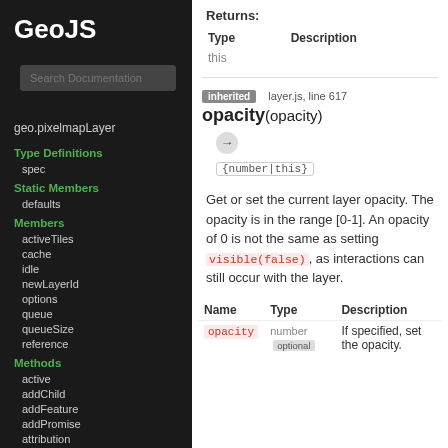GeoJS
Search Documentation
geo.pixelmapLayer
Type Definitions
spec
Static Members
defaults
Members
activeTiles
cache
idle
newLayerId
options
queue
queueSize
reference
Methods
active
addChild
addFeature
addPromise
attribution
Returns:
| Type | Description |
| --- | --- |
| this |  |
inherited   layer.js, line 617
opacity(opacity)
{number|this}
Get or set the current layer opacity. The opacity is in the range [0-1]. An opacity of 0 is not the same as setting visible(false), as interactions can still occur with the layer.
| Name | Type | Description |
| --- | --- | --- |
| opacity | number optional | If specified, set the opacity. |